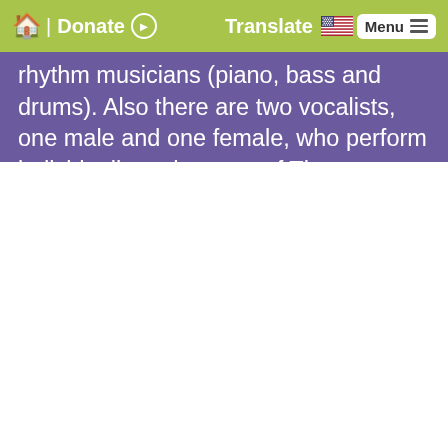🏠 | Donate ⊙   Translate 🇺🇸   Menu ≡
rhythm musicians (piano, bass and drums). Also there are two vocalists, one male and one female, who perform individually and as part of The Moonlight Serenaders - vocal group. The big-band business today requires almost constant travel as a result of an arduous schedule of one nightstands.  The Glenn Miller Orchestra is "on the road" longer and more continuously than any other in the whole world, having celebrated its 60th year anniversary on June 6, 2016. It covers over a hundred thousand miles a year, working most every night for 48 weeks out of every 52-nearly 300 playing dates, performing for an "in person" audience that adds up to more than a half million people annually. The orchestra has performed in all 50